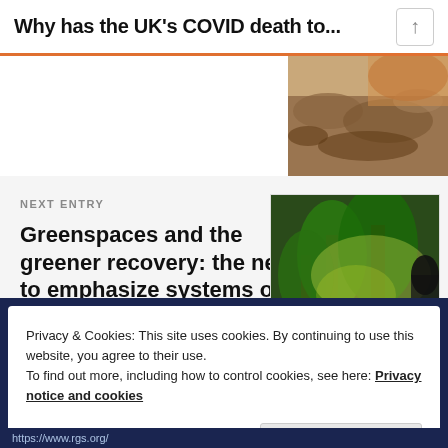Why has the UK’s COVID death to...
[Figure (photo): Aerial or close-up photo of rocky/sandy terrain, brownish earth tones]
NEXT ENTRY
Greenspaces and the greener recovery: the need to emphasize systems over sites.
[Figure (photo): Green park scene with tall trees, sunlight filtering through foliage, a path and bench visible, lush green grass]
Privacy & Cookies: This site uses cookies. By continuing to use this website, you agree to their use.
To find out more, including how to control cookies, see here: Privacy notice and cookies
Close and accept
https://www.rgs.org/